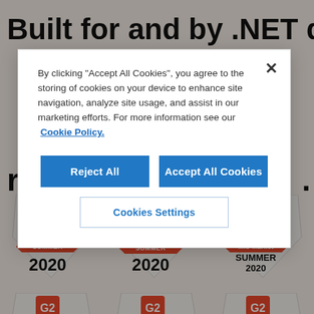Built for and by .NET developers
[Figure (screenshot): Cookie consent modal dialog overlaying a webpage. Modal contains text about cookies, a close X button, 'Reject All' and 'Accept All Cookies' buttons, and a 'Cookies Settings' button.]
By clicking "Accept All Cookies", you agree to the storing of cookies on your device to enhance site navigation, analyze site usage, and assist in our marketing efforts. For more information see our  Cookie Policy.
[Figure (infographic): G2 award badges: Leader Summer 2020, Momentum Leader Summer 2020, High Performer Mid-Market Summer 2020, and a second row showing Easiest To Do, Best, Fastest badges.]